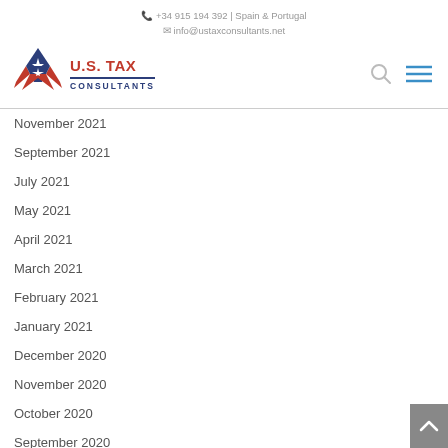📞 +34 915 194 392 | Spain & Portugal
✉ info@ustaxconsultants.net
[Figure (logo): U.S. Tax Consultants logo with red and blue star, search icon and hamburger menu icon]
November 2021
September 2021
July 2021
May 2021
April 2021
March 2021
February 2021
January 2021
December 2020
November 2020
October 2020
September 2020